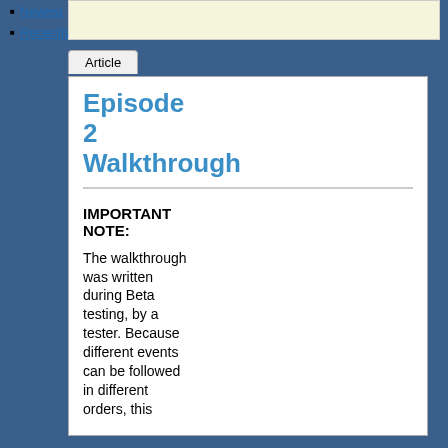Newest
Recently Changed
Episode 2 Walkthrough
IMPORTANT NOTE:
The walkthrough was written during Beta testing, by a tester. Because different events can be followed in different orders, this